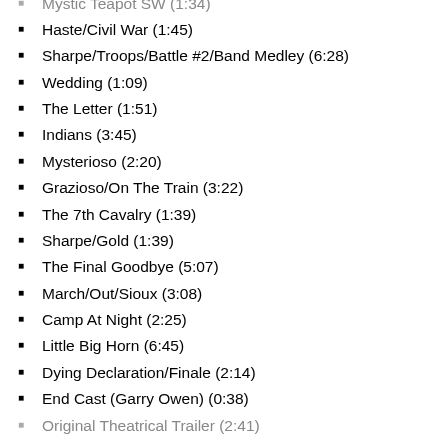Mystic Teapot SW (1:34)
Haste/Civil War (1:45)
Sharpe/Troops/Battle #2/Band Medley (6:28)
Wedding (1:09)
The Letter (1:51)
Indians (3:45)
Mysterioso (2:20)
Grazioso/On The Train (3:22)
The 7th Cavalry (1:39)
Sharpe/Gold (1:39)
The Final Goodbye (5:07)
March/Out/Sioux (3:08)
Camp At Night (2:25)
Little Big Horn (6:45)
Dying Declaration/Finale (2:14)
End Cast (Garry Owen) (0:38)
Original Theatrical Trailer (2:41)